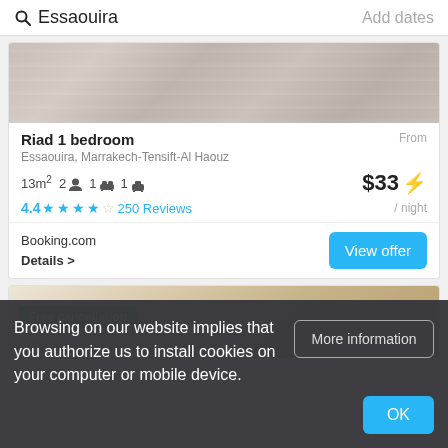Essaouira   Add dates
[Figure (photo): Hotel/riad room photo showing white linens and interior]
Riad 1 bedroom
Essaouira, Marrakech-Tensift-Al Haouz
13m² 2 2 person icon 1 bed icon 1 icon
4.4 ★★★★☆ 250 Reviews
From $33 ⚡ / night
Booking.com
Details >
View offer
[Figure (photo): Second listing photo with free cancellation badge]
Free cancellation
Browsing on our website implies that you authorize us to install cookies on your computer or mobile device.
More information
OK